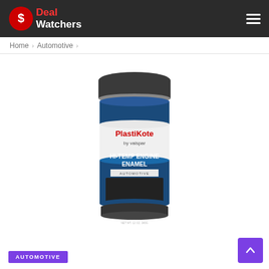Deal Watchers
Home > Automotive >
[Figure (photo): PlastiKote by Valspar Hi-Temp Engine Enamel spray can in black/dark blue, 12oz (340g), automotive product]
AUTOMOTIVE